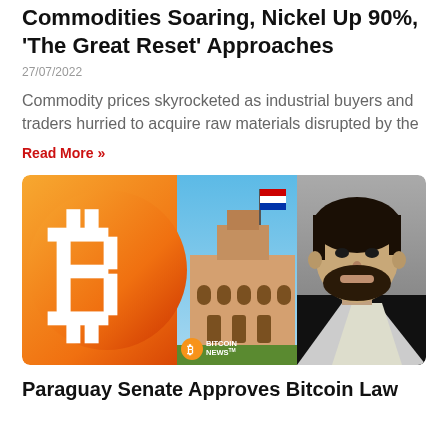Commodities Soaring, Nickel Up 90%, 'The Great Reset' Approaches
27/07/2022
Commodity prices skyrocketed as industrial buyers and traders hurried to acquire raw materials disrupted by the
Read More »
[Figure (photo): Composite image: Bitcoin orange logo on left, Paraguay parliament building with flag in center, man with beard in black and white on right. Bitcoin News logo in lower center.]
Paraguay Senate Approves Bitcoin Law